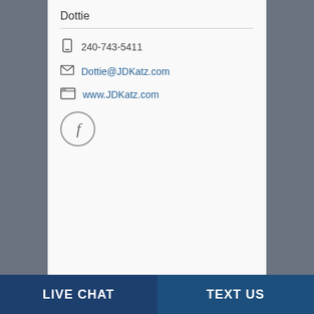Dottie
240-743-5411
Dottie@JDKatz.com
www.JDKatz.com
[Figure (logo): Facebook icon circle button]
LIVE CHAT
TEXT US